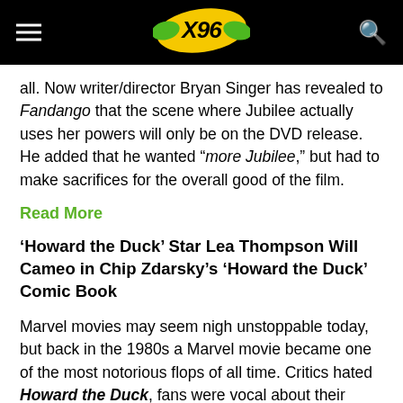X96 (logo)
all. Now writer/director Bryan Singer has revealed to Fandango that the scene where Jubilee actually uses her powers will only be on the DVD release. He added that he wanted “more Jubilee,” but had to make sacrifices for the overall good of the film.
Read More
‘Howard the Duck’ Star Lea Thompson Will Cameo in Chip Zdarsky’s ‘Howard the Duck’ Comic Book
Marvel movies may seem nigh unstoppable today, but back in the 1980s a Marvel movie became one of the most notorious flops of all time. Critics hated Howard the Duck, fans were vocal about their disappointment, and audiences mostly failed to show up at all. But the tide is slowly turning for Howard. His film’s attracted a cult following over the